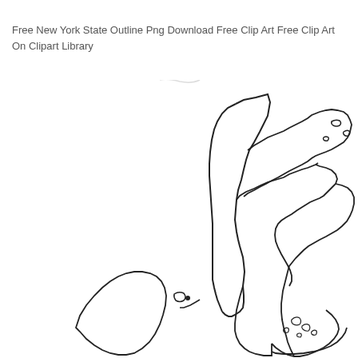[Figure (map): Partial outline of New York City map showing boroughs including Manhattan, Queens, Brooklyn, Staten Island, and surrounding waterways, rendered as a black outline on white background. Top portion of a larger map is visible.]
Free New York State Outline Png Download Free Clip Art Free Clip Art On Clipart Library